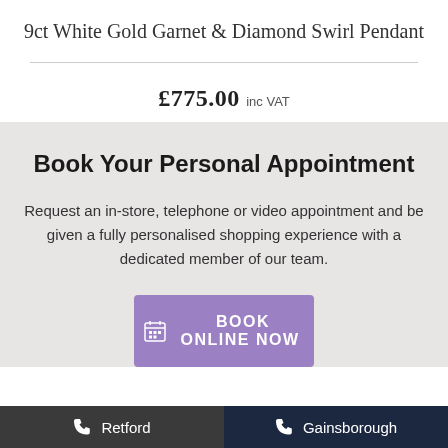9ct White Gold Garnet & Diamond Swirl Pendant
£775.00 inc VAT
Book Your Personal Appointment
Request an in-store, telephone or video appointment and be given a fully personalised shopping experience with a dedicated member of our team.
BOOK ONLINE NOW
Retford  Gainsborough